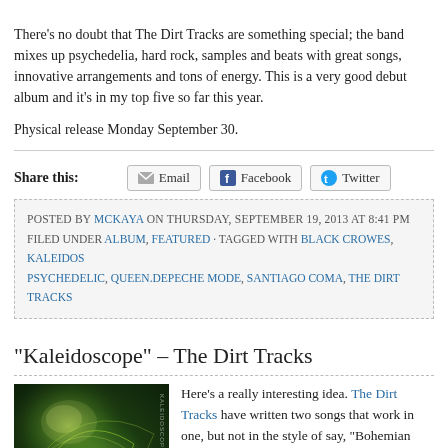There’s no doubt that The Dirt Tracks are something special; the band mixes up psychedelia, hard rock, samples and beats with great songs, innovative arrangements and tons of energy. This is a very good debut album and it’s in my top five so far this year.
Physical release Monday September 30.
Share this: Email Facebook Twitter
POSTED BY MCKAYA ON THURSDAY, SEPTEMBER 19, 2013 AT 8:41 PM
FILED UNDER ALBUM, FEATURED · TAGGED WITH BLACK CROWES, KALEIDOSCOPE, PSYCHEDELIC, QUEEN.DEPECHE MODE, SANTIAGO COMA, THE DIRT TRACKS
“Kaleidoscope” – The Dirt Tracks
[Figure (photo): Album cover for Kaleidoscope by The Dirt Tracks, featuring abstract green and yellow swirling artwork with band name text.]
Here’s a really interesting idea. The Dirt Tracks have written two songs that work in one, but not in the style of say, “Bohemian Rhapsody” where one distinct section segues into the next; it’s a bit more clever than that and it’s a very clever idea. To get the full impact, you need to be able to isolate the right and left stereo channels, as two songs are panned to opposite ends of the st…